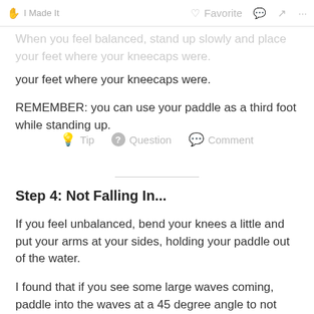I Made It   Favorite   Comment
When you feel balanced, stand up slowly and place your feet where your kneecaps were.
REMEMBER: you can use your paddle as a third foot while standing up.
Tip   Question   Comment
Step 4: Not Falling In...
If you feel unbalanced, bend your knees a little and put your arms at your sides, holding your paddle out of the water.
I found that if you see some large waves coming, paddle into the waves at a 45 degree angle to not